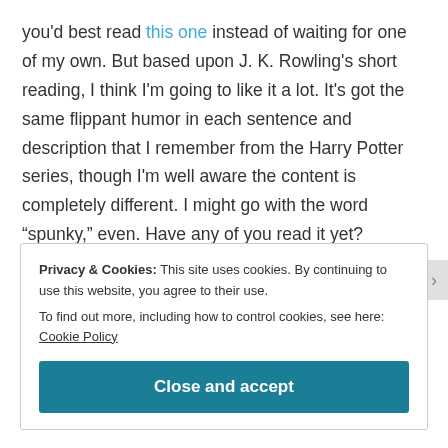you'd best read this one instead of waiting for one of my own. But based upon J. K. Rowling's short reading, I think I'm going to like it a lot. It's got the same flippant humor in each sentence and description that I remember from the Harry Potter series, though I'm well aware the content is completely different. I might go with the word “spunky,” even. Have any of you read it yet? Thoughts?
Privacy & Cookies: This site uses cookies. By continuing to use this website, you agree to their use.
To find out more, including how to control cookies, see here: Cookie Policy
Close and accept